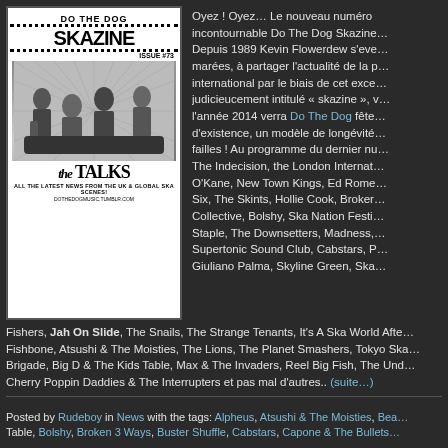[Figure (photo): Cover of Do The Dog Skazine Issue #73 featuring The Talks — a black and white magazine cover with four young men sitting/standing on a sofa, with the title SKAZINE in large bold letters and THE TALKS at the bottom]
Oyez ! Oyez… Le nouveau numéro incontournable Do The Dog Skazine… Depuis 1989 Kevin Flowerdew s'eve… marées, à partager l'actualité de la p… international par le biais de cet exce… judicieucement intitulé « skazine », v… l'année 2014 verra Do The Dog fête… d'existence, un modèle de longévité… failles ! Au programme du dernier nu… The Indecision, the London Internat… O'Kane, New Town Kings, Ed Rome… Six, The Skints, Hollie Cook, Broker… Collective, Bolshy, Ska Nation Festi… Staple, The Downsetters, Madness,… Supertonic Sound Club, Cabstars, P… Giuliano Palma, Skyline Green, Ska…
Fishers, Jah On Slide, The Snails, The Strange Tenants, It's A Ska World Afte… Fishbone, Atsushi & The Moisties, The Lions, The Planet Smashers, Tokyo Ska… Brigade, Big D & The Kids Table, Max & The Invaders, Reel Big Fish, The Und… Cherry Poppin Daddies & The Interrupters et pas mal d'autres.. (suite…)
Posted by Rudeboy in News with the tags: Alpheus, Atsushi & The Moisties, Bea… Table, Bolshy, Broken 3 Ways, Buster Shuffle, Cabstars, Capone & The Bullets…